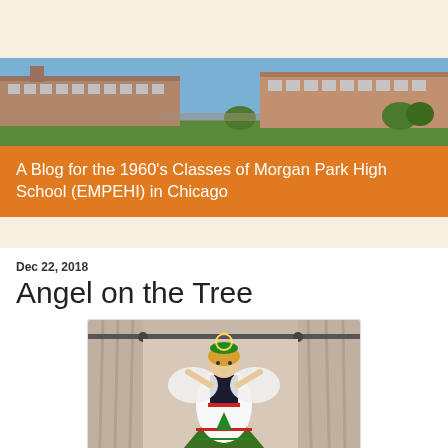[Figure (photo): Exterior photo of Morgan Park High School building, a large brick school building under a clear blue sky with green lawn in front]
A Blog for the 1960's Classes of Morgan Park High School (EMPEHI) in Chicago
Dec 22, 2018
Angel on the Tree
[Figure (photo): An angel Christmas tree topper figure wearing a white dress with red trim and a Christmas tree design, with wings spread, placed on top of a decorated Christmas tree with lights, curtains visible in background]